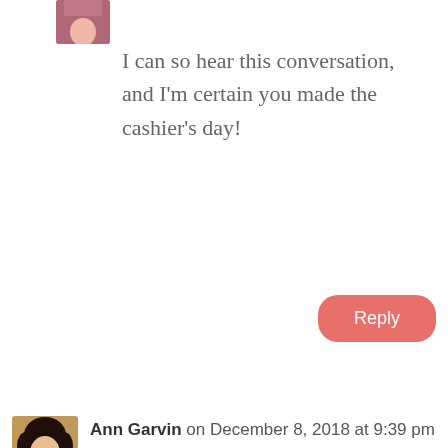[Figure (photo): Small user avatar photo showing a person in a reddish/pink top, cropped at top of page]
I can so hear this conversation, and I'm certain you made the cashier's day!
Reply
[Figure (photo): User avatar photo of Ann Garvin, a woman with curly dark hair]
Ann Garvin on December 8, 2018 at 9:39 pm
Girl i am pretty sure you would have the same.
Reply
[Figure (photo): Partial gray avatar at bottom of page]
Deb Says on December 8, 2018 at 5:42...